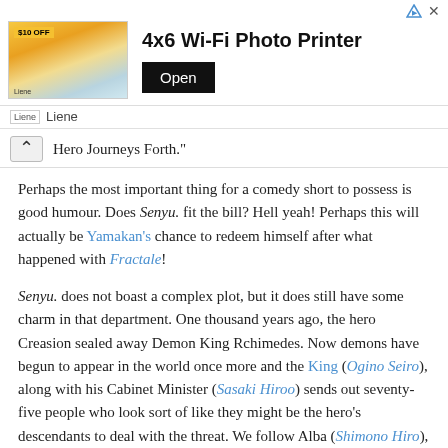[Figure (screenshot): Advertisement banner for Liene 4x6 Wi-Fi Photo Printer with $10 OFF label, product image, and Open button]
Liene
Hero Journeys Forth."
Perhaps the most important thing for a comedy short to possess is good humour. Does Senyu. fit the bill? Hell yeah! Perhaps this will actually be Yamakan's chance to redeem himself after what happened with Fractale!
Senyu. does not boast a complex plot, but it does still have some charm in that department. One thousand years ago, the hero Creasion sealed away Demon King Rchimedes. Now demons have begun to appear in the world once more and the King (Ogino Seiro), along with his Cabinet Minister (Sasaki Hiroo) sends out seventy-five people who look sort of like they might be the hero's descendants to deal with the threat. We follow Alba (Shimono Hiro), the forty-fifth of these heroes, and his partner Ross